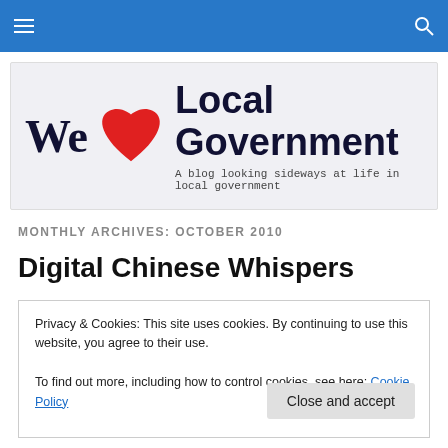Navigation bar with hamburger menu and search icon
[Figure (logo): We Love Local Government blog logo with red heart, bold text 'We' and 'Local Government', tagline 'A blog looking sideways at life in local government']
MONTHLY ARCHIVES: OCTOBER 2010
Digital Chinese Whispers
Privacy & Cookies: This site uses cookies. By continuing to use this website, you agree to their use.
To find out more, including how to control cookies, see here: Cookie Policy
Close and accept